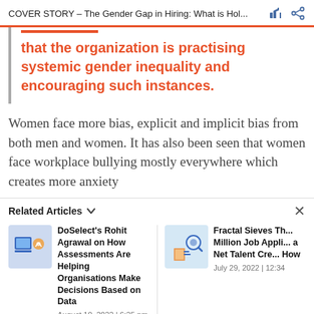COVER STORY – The Gender Gap in Hiring: What is Hol...
that the organization is practising systemic gender inequality and encouraging such instances.
Women face more bias, explicit and implicit bias from both men and women. It has also been seen that women face workplace bullying mostly everywhere which creates more anxiety
Related Articles
DoSelect's Rohit Agrawal on How Assessments Are Helping Organisations Make Decisions Based on Data
August 10, 2022 | 6:25 pm
Fractal Sieves Th... Million Job Appli... a Net Talent Cre... How
July 29, 2022 | 12:34